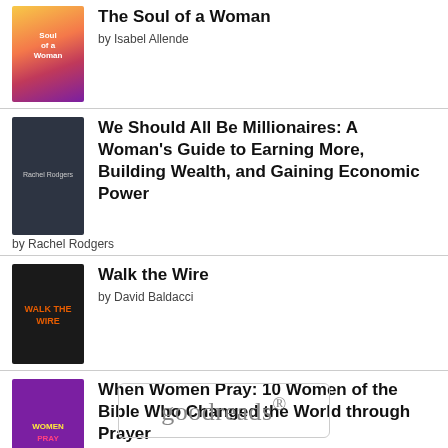[Figure (illustration): Book cover: The Soul of a Woman, colorful gradient pink/orange/purple]
The Soul of a Woman
by Isabel Allende
[Figure (illustration): Book cover: We Should All Be Millionaires, dark background with woman]
We Should All Be Millionaires: A Woman's Guide to Earning More, Building Wealth, and Gaining Economic Power
by Rachel Rodgers
[Figure (illustration): Book cover: Walk the Wire, black background with title text]
Walk the Wire
by David Baldacci
[Figure (illustration): Book cover: When Women Pray, purple background with colorful text]
When Women Pray: 10 Women of the Bible Who Changed the World through Prayer
by T.D. Jakes
[Figure (logo): Goodreads logo in a rounded rectangle box]